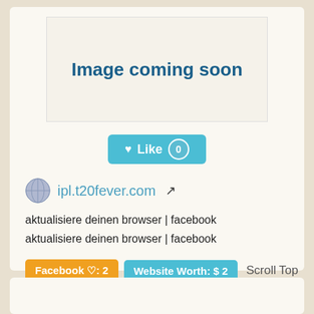[Figure (screenshot): Image coming soon placeholder box]
♥ Like 0
ipl.t20fever.com ↗
aktualisiere deinen browser | facebook
aktualisiere deinen browser | facebook
Facebook ♡: 2   Website Worth: $ 2   Scroll Top
Is it similar?  Yes 0  No 0